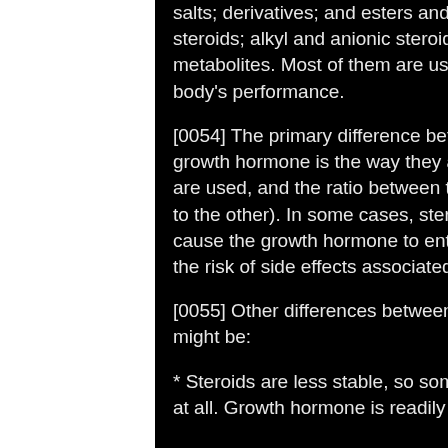salts; derivatives; and esters and salts of derivatives; alkyl steroids; alkyl and anionic steroids; anadromes; and fatty acid metabolites. Most of them are used by athletes to enhance the body's performance.
[0054] The primary difference between anabolic steroids and growth hormone is the way they are synthesized, the way they are used, and the ratio between the two (i.e., the amount of one to the other). In some cases, steroids are combined and can cause the growth hormone to enter the body, but this increases the risk of side effects associated with a combination.
[0055] Other differences between steroids and growth hormone might be:
* Steroids are less stable, so some are discontinued or not used at all. Growth hormone is readily available in a variety of